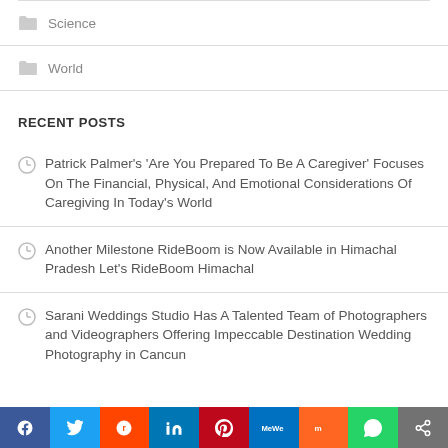Science
World
RECENT POSTS
Patrick Palmer's 'Are You Prepared To Be A Caregiver' Focuses On The Financial, Physical, And Emotional Considerations Of Caregiving In Today's World
Another Milestone RideBoom is Now Available in Himachal Pradesh Let's RideBoom Himachal
Sarani Weddings Studio Has A Talented Team of Photographers and Videographers Offering Impeccable Destination Wedding Photography in Cancun